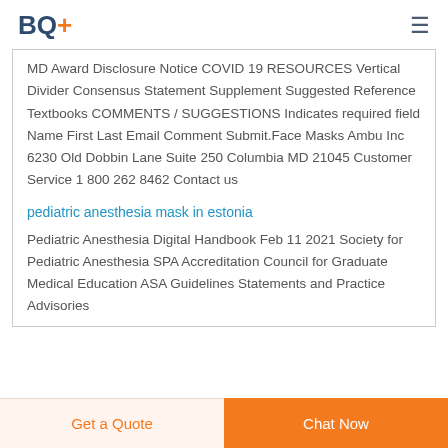BQ+
MD Award Disclosure Notice COVID 19 RESOURCES Vertical Divider Consensus Statement Supplement Suggested Reference Textbooks COMMENTS / SUGGESTIONS Indicates required field Name First Last Email Comment Submit.Face Masks Ambu Inc 6230 Old Dobbin Lane Suite 250 Columbia MD 21045 Customer Service 1 800 262 8462 Contact us
pediatric anesthesia mask in estonia
Pediatric Anesthesia Digital Handbook Feb 11 2021 Society for Pediatric Anesthesia SPA Accreditation Council for Graduate Medical Education ASA Guidelines Statements and Practice Advisories